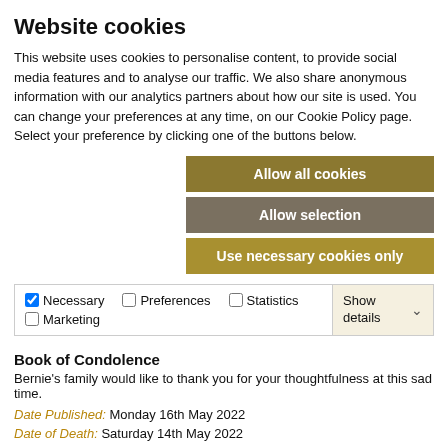Website cookies
This website uses cookies to personalise content, to provide social media features and to analyse our traffic. We also share anonymous information with our analytics partners about how our site is used. You can change your preferences at any time, on our Cookie Policy page. Select your preference by clicking one of the buttons below.
Allow all cookies
Allow selection
Use necessary cookies only
| Necessary | Preferences | Statistics | Marketing | Show details |
| --- | --- | --- | --- | --- |
attending the funeral we would ask you continue to be mindful of being in close contact with others.
Book of Condolence
Bernie's family would like to thank you for your thoughtfulness at this sad time.
Date Published: Monday 16th May 2022
Date of Death: Saturday 14th May 2022
O'Flaherty Funeral Directors